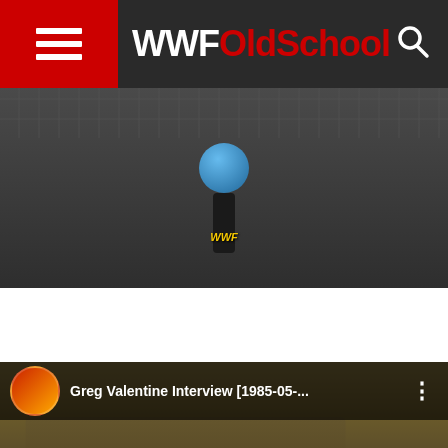WWFOldSchool
[Figure (screenshot): Video screenshot showing a person holding a blue microphone with WWF logo branding]
[Figure (screenshot): YouTube embed preview for 'Greg Valentine Interview [1985-05-...' with a play button overlay, showing Greg Valentine in sunglasses]